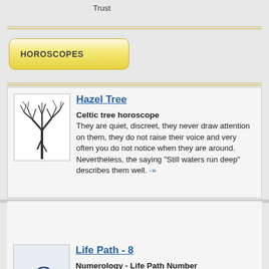Trust
HOROSCOPES
Hazel Tree
[Figure (illustration): Bare winter tree illustration, black ink on white background]
Celtic tree horoscope
They are quiet, discreet, they never draw attention on them, they do not raise their voice and very often you do not notice when they are around. Nevertheless, the saying "Still waters run deep" describes them well. -»
NUMEROLOGY REPORT
Life Path - 8
[Figure (illustration): Number 8 displayed in large italic serif font on light blue background]
Numerology - Life Path Number
These people are ambitious and have a desire for power and money. Risky journeys will bring them success. The problem is sometimes a lack of courage, endurance and mental balance. They have good management and organizational skills. They are tough and persistent, but also conservative. -»